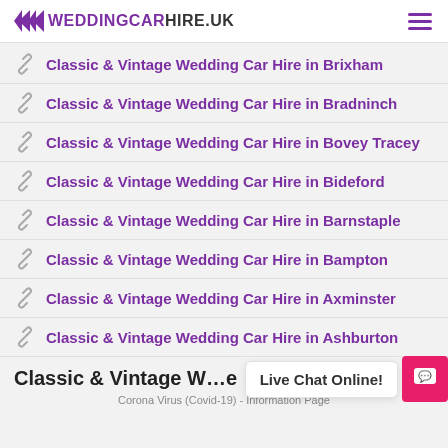WEDDING CAR HIRE.UK
Classic & Vintage Wedding Car Hire in Brixham
Classic & Vintage Wedding Car Hire in Bradninch
Classic & Vintage Wedding Car Hire in Bovey Tracey
Classic & Vintage Wedding Car Hire in Bideford
Classic & Vintage Wedding Car Hire in Barnstaple
Classic & Vintage Wedding Car Hire in Bampton
Classic & Vintage Wedding Car Hire in Axminster
Classic & Vintage Wedding Car Hire in Ashburton
Classic & Vintage W…e
Corona Virus (Covid-19) - Information Page